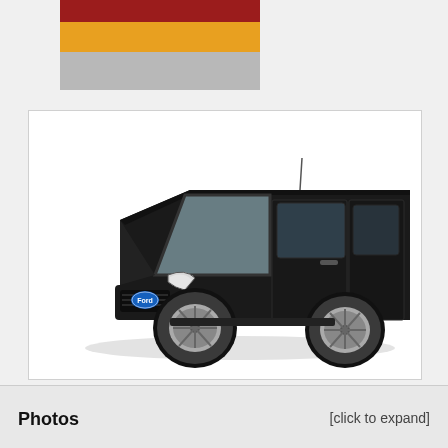[Figure (illustration): Color swatches showing three horizontal bands: dark red on top, golden yellow in middle, light gray on bottom]
[Figure (photo): Black Ford Transit Connect cargo van shown in three-quarter front view against white background]
Photos
[click to expand]